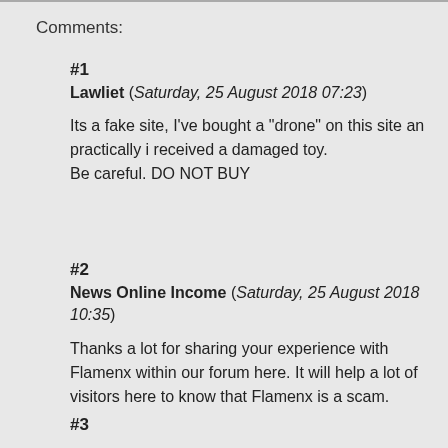Comments:
#1
Lawliet (Saturday, 25 August 2018 07:23)

Its a fake site, I’ve bought a “drone” on this site an practically i received a damaged toy.
Be careful. DO NOT BUY
#2
News Online Income (Saturday, 25 August 2018 10:35)

Thanks a lot for sharing your experience with Flamenx within our forum here. It will help a lot of visitors here to know that Flamenx is a scam.
#3